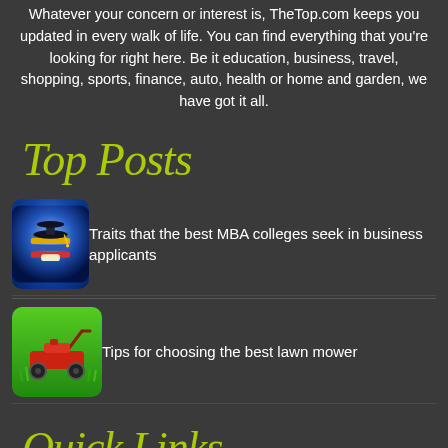Whatever your concern or interest is, TheTop.com keeps you updated in every walk of life. You can find everything that you're looking for right here. Be it education, business, travel, shopping, sports, finance, auto, health or home and garden, we have got it all.
Top Posts
Traits that the best MBA colleges seek in business applicants
Tips for choosing the best lawn mower
Quick Links